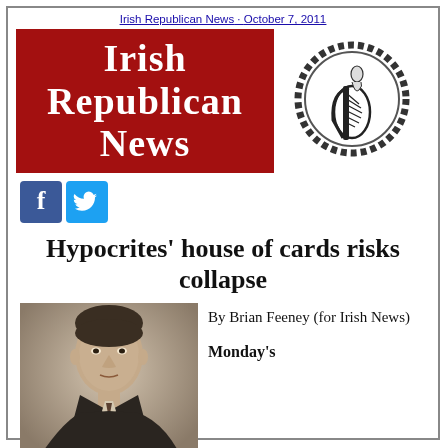Irish Republican News · October 7, 2011
Irish Republican News
[Figure (logo): Irish Republican emblem/seal with harp and chain border]
[Figure (logo): Facebook icon (blue square with f)]
[Figure (logo): Twitter icon (blue square with bird)]
Hypocrites' house of cards risks collapse
[Figure (photo): Black and white portrait photograph of a man in formal attire]
By Brian Feeney (for Irish News)
Monday's